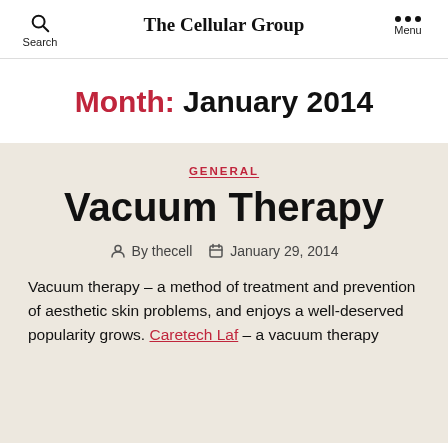Search  The Cellular Group  Menu
Month: January 2014
GENERAL
Vacuum Therapy
By thecell  January 29, 2014
Vacuum therapy – a method of treatment and prevention of aesthetic skin problems, and enjoys a well-deserved popularity grows. Caretech Laf – a vacuum therapy